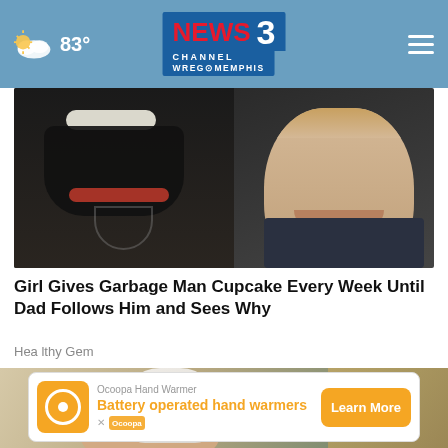NEWS 3 CHANNEL WREG MEMPHIS — 83°
[Figure (photo): Photo of a smiling man with a beard and headphones posing with a young smiling toddler child]
Girl Gives Garbage Man Cupcake Every Week Until Dad Follows Him and Sees Why
HealthyGem
[Figure (photo): A hand holding a white bottle-shaped object, possibly a hand warmer device, on a wooden surface background]
[Figure (infographic): Advertisement banner for Ocoopa Hand Warmer: Battery operated hand warmers with Learn More button]